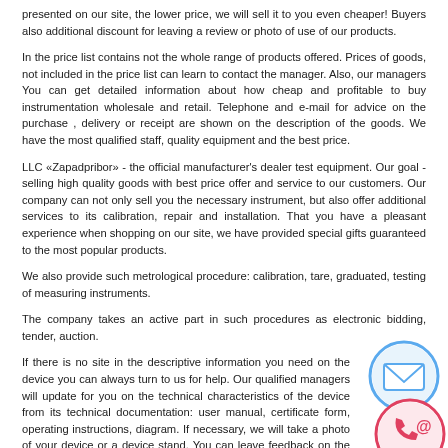presented on our site, the lower price, we will sell it to you even cheaper! Buyers also additional discount for leaving a review or photo of use of our products.
In the price list contains not the whole range of products offered. Prices of goods, not included in the price list can learn to contact the manager. Also, our managers You can get detailed information about how cheap and profitable to buy instrumentation wholesale and retail. Telephone and e-mail for advice on the purchase , delivery or receipt are shown on the description of the goods. We have the most qualified staff, quality equipment and the best price.
LLC «Zapadpribor» - the official manufacturer's dealer test equipment. Our goal - selling high quality goods with best price offer and service to our customers. Our company can not only sell you the necessary instrument, but also offer additional services to its calibration, repair and installation. That you have a pleasant experience when shopping on our site, we have provided special gifts guaranteed to the most popular products.
We also provide such metrological procedure: calibration, tare, graduated, testing of measuring instruments.
The company takes an active part in such procedures as electronic bidding, tender, auction.
If there is no site in the descriptive information you need on the device you can always turn to us for help. Our qualified managers will update for you on the technical characteristics of the device from its technical documentation: user manual, certificate form, operating instructions, diagram. If necessary, we will take a photo of your device or a device stand. You can leave feedback on the unit purchased from us, the meter, the device, indicator, or product. Your review for your approval will be published on the site without contact information.
[Figure (illustration): Email envelope icon in a blue circle]
[Figure (illustration): Phone with @ symbol icon in a red/pink circle]
Description of the instruments taken from the technical documentation or technical literature. Most pictures of products made directly by our experts prior to shipment of goods. In the description of the device provided the main technical characteristics of